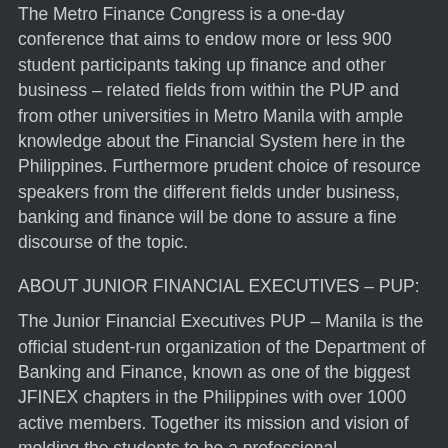The Metro Finance Congress is a one-day conference that aims to endow more or less 900 student participants taking up finance and other business – related fields from within the PUP and from other universities in Metro Manila with ample knowledge about the Financial System here in the Philippines. Furthermore prudent choice of resource speakers from the different fields under business, banking and finance will be done to assure a fine discourse of the topic.
ABOUT JUNIOR FINANCIAL EXECUTIVES – PUP:
The Junior Financial Executives PUP – Manila is the official student-run organization of the Department of Banking and Finance, known as one of the biggest JFINEX chapters in the Philippines with over 1000 active members. Together its mission and vision of molding the students to be a professional practitioners and uphold awareness in banking and finance field, the organization conducts interactive academic and non – academic events. The goal of the organization for the academic year 2019-2020 is to bind the organization, the students and future partners during its